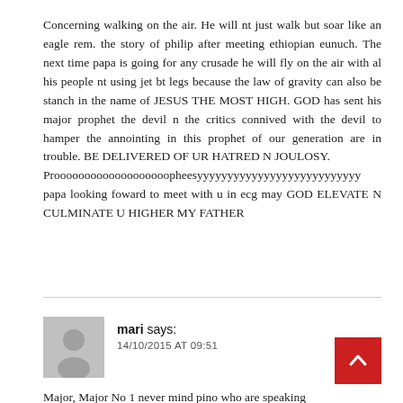Concerning walking on the air. He will nt just walk but soar like an eagle rem. the story of philip after meeting ethiopian eunuch. The next time papa is going for any crusade he will fly on the air with al his people nt using jet bt legs because the law of gravity can also be stanch in the name of JESUS THE MOST HIGH. GOD has sent his major prophet the devil n the critics connived with the devil to hamper the annointing in this prophet of our generation are in trouble. BE DELIVERED OF UR HATRED N JOULOSY.
Prooooooooooooooooooopheesyyyyyyyyyyyyyyyyyyyyyyyyyyy papa looking foward to meet with u in ecg may GOD ELEVATE N CULMINATE U HIGHER MY FATHER
mari says:
14/10/2015 AT 09:51
Major, Major No 1 never mind pino who are speaking